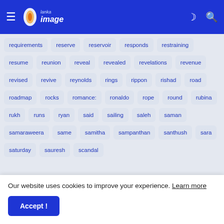Lanka Image - navigation bar with hamburger menu, logo, moon icon, search icon
requirements
reserve
reservoir
responds
restraining
resume
reunion
reveal
revealed
revelations
revenue
revised
revive
reynolds
rings
rippon
rishad
road
roadmap
rocks
romance:
ronaldo
rope
round
rubina
rukh
runs
ryan
said
sailing
saleh
saman
samaraweera
same
samitha
sampanthan
Our website uses cookies to improve your experience. Learn more
Accept !